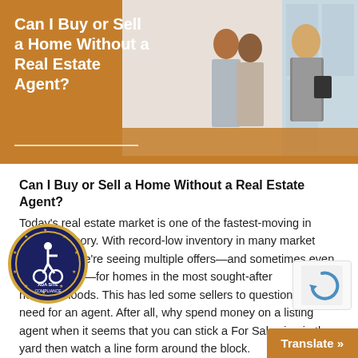[Figure (photo): Hero banner with orange/brown background on the left showing the article title in white text, and a photo on the right of two people (a couple) talking with a female real estate agent holding a folder, in a bright interior setting.]
Can I Buy or Sell a Home Without a Real Estate Agent?
Today's real estate market is one of the fastest-moving in recent memory. With record-low inventory in many market segments, we're seeing multiple offers—and sometimes even bidding wars—for homes in the most sought-after neighborhoods. This has led some sellers to question the need for an agent. After all, why spend money on a listing agent when it seems that you can stick a For Sale sign in the yard then watch a line form around the block.
[Figure (logo): ADA Site Compliance circular badge with wheelchair accessibility icon and stars around the border]
[Figure (other): reCAPTCHA widget (grey box with circular arrow icon)]
Translate »